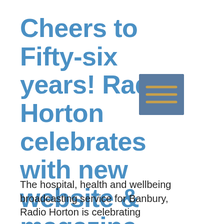Cheers to Fifty-six years! Radio Horton celebrates with new website & magazine launch
[Figure (other): A small square icon with a steel-blue background containing three horizontal orange/gold lines, resembling a menu or list icon.]
The hospital, health and wellbeing broadcasting service for Banbury, Radio Horton is celebrating